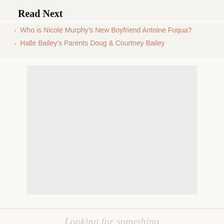Read Next
Who is Nicole Murphy's New Boyfriend Antoine Fuqua?
Halle Bailey's Parents Doug & Courtney Bailey
[Figure (other): Advertisement placeholder rectangle with light gray background]
Looking for something